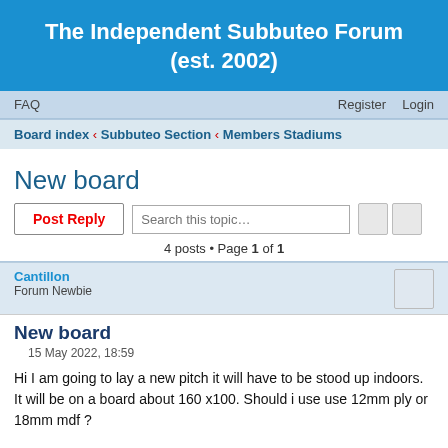The Independent Subbuteo Forum (est. 2002)
FAQ    Register    Login
Board index ‹ Subbuteo Section ‹ Members Stadiums
New board
4 posts • Page 1 of 1
Cantillon
Forum Newbie
New board
15 May 2022, 18:59
Hi I am going to lay a new pitch it will have to be stood up indoors. It will be on a board about 160 x100. Should i use use 12mm ply or 18mm mdf ?

Mike
Subbuteolover9614
Forum Newbie